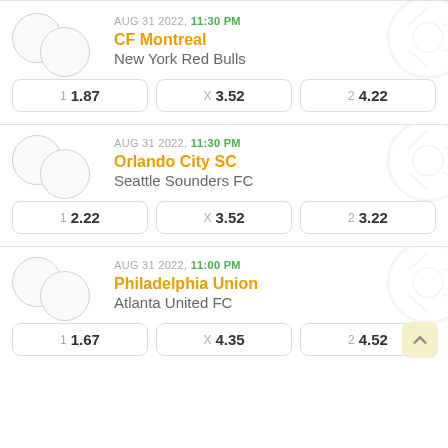AUG 31 2022, 11:30 PM
CF Montreal
New York Red Bulls
1 1.87   X 3.52   2 4.22
AUG 31 2022, 11:30 PM
Orlando City SC
Seattle Sounders FC
1 2.22   X 3.52   2 3.22
AUG 31 2022, 11:00 PM
Philadelphia Union
Atlanta United FC
1 1.67   X 4.35   2 4.52